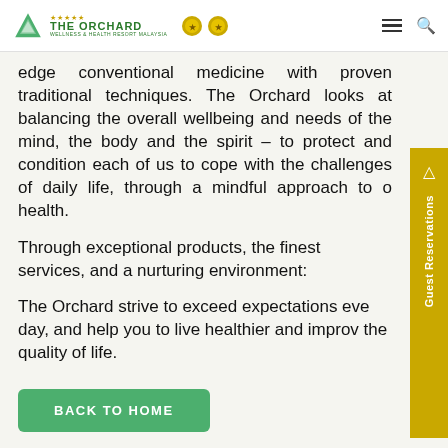The Orchard — header with logo, award icons, hamburger menu, search
edge conventional medicine with proven traditional techniques. The Orchard looks at balancing the overall wellbeing and needs of the mind, the body and the spirit – to protect and condition each of us to cope with the challenges of daily life, through a mindful approach to o health.
Through exceptional products, the finest services, and a nurturing environment:
The Orchard strive to exceed expectations eve day, and help you to live healthier and improv the quality of life.
BACK TO HOME